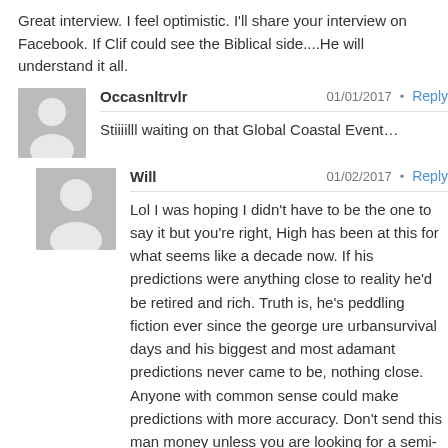Great interview. I feel optimistic. I'll share your interview on Facebook. If Clif could see the Biblical side....He will understand it all.
Occasnltrvlr  01/01/2017  Reply
Stiiiilll waiting on that Global Coastal Event…
Will  01/02/2017  Reply
Lol I was hoping I didn't have to be the one to say it but you're right, High has been at this for what seems like a decade now. If his predictions were anything close to reality he'd be retired and rich. Truth is, he's peddling fiction ever since the george ure urbansurvival days and his biggest and most adamant predictions never came to be, nothing close. Anyone with common sense could make predictions with more accuracy. Don't send this man money unless you are looking for a semi-